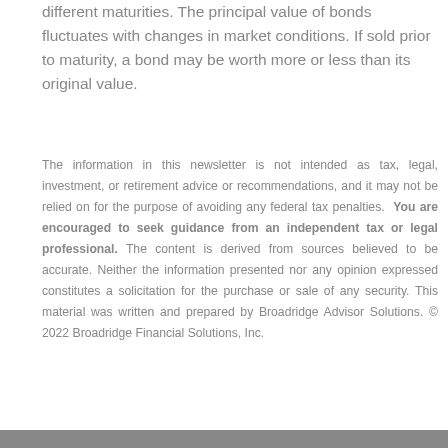different maturities. The principal value of bonds fluctuates with changes in market conditions. If sold prior to maturity, a bond may be worth more or less than its original value.
The information in this newsletter is not intended as tax, legal, investment, or retirement advice or recommendations, and it may not be relied on for the purpose of avoiding any federal tax penalties. You are encouraged to seek guidance from an independent tax or legal professional. The content is derived from sources believed to be accurate. Neither the information presented nor any opinion expressed constitutes a solicitation for the purchase or sale of any security. This material was written and prepared by Broadridge Advisor Solutions. © 2022 Broadridge Financial Solutions, Inc.